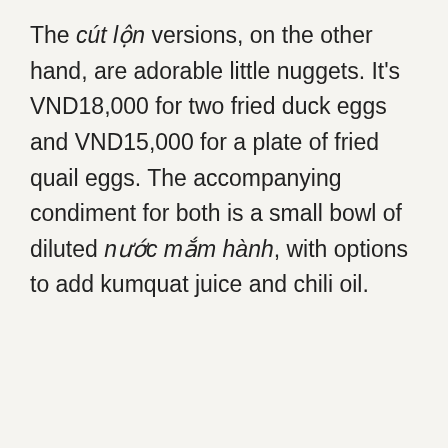The cút lộn versions, on the other hand, are adorable little nuggets. It's VND18,000 for two fried duck eggs and VND15,000 for a plate of fried quail eggs. The accompanying condiment for both is a small bowl of diluted nước mắm hành, with options to add kumquat juice and chili oil.